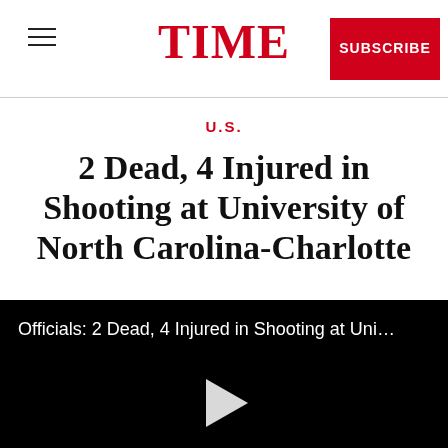TIME
U.S.
2 Dead, 4 Injured in Shooting at University of North Carolina-Charlotte
[Figure (screenshot): Video player with black background showing title 'Officials: 2 Dead, 4 Injured in Shooting at Uni...' and a white play button triangle in the center]